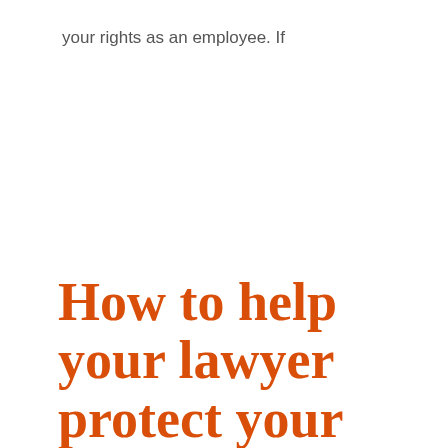your rights as an employee. If
How to help your lawyer protect your